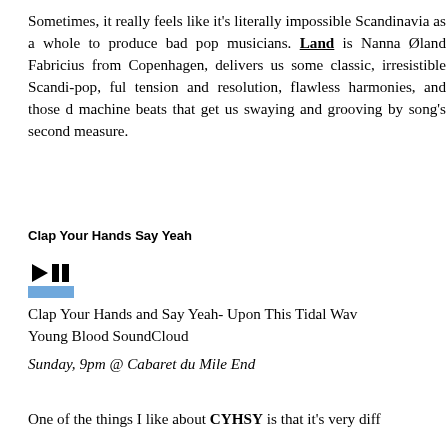Sometimes, it really feels like it's literally impossible Scandinavia as a whole to produce bad pop musicians. Land is Nanna Øland Fabricius from Copenhagen, delivers us some classic, irresistible Scandi-pop, full of tension and resolution, flawless harmonies, and those drum machine beats that get us swaying and grooving by the song's second measure.
Clap Your Hands Say Yeah
[Figure (other): Play/pause button icon with blue rectangle below, representing a music player widget]
Clap Your Hands and Say Yeah- Upon This Tidal Wave of Young Blood SoundCloud
Sunday, 9pm @ Cabaret du Mile End
One of the things I like about CYHSY is that it's very diff